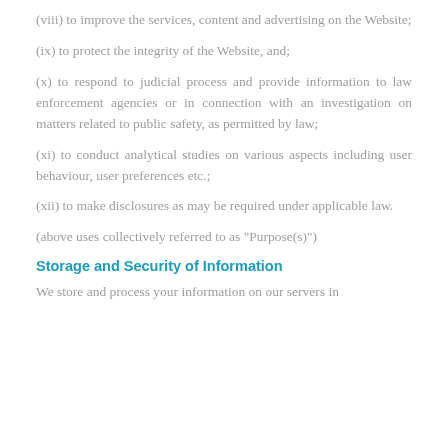(viii) to improve the services, content and advertising on the Website;
(ix) to protect the integrity of the Website, and;
(x) to respond to judicial process and provide information to law enforcement agencies or in connection with an investigation on matters related to public safety, as permitted by law;
(xi) to conduct analytical studies on various aspects including user behaviour, user preferences etc.;
(xii) to make disclosures as may be required under applicable law.
(above uses collectively referred to as "Purpose(s)")
Storage and Security of Information
We store and process your information on our servers in